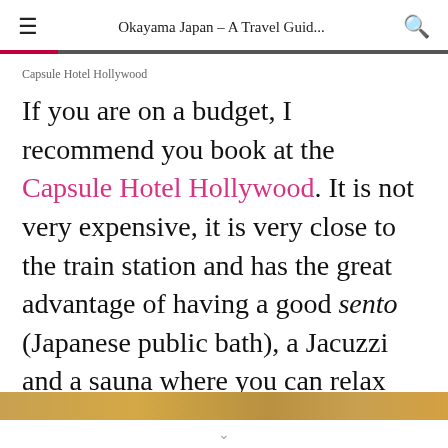Okayama Japan – A Travel Guid...
Capsule Hotel Hollywood
If you are on a budget, I recommend you book at the Capsule Hotel Hollywood. It is not very expensive, it is very close to the train station and has the great advantage of having a good sento (Japanese public bath), a Jacuzzi and a sauna where you can relax after a long day of adventure. A real treat !
[Figure (photo): Bottom strip of a photo, warm orange/amber tones, partially visible at bottom of page]